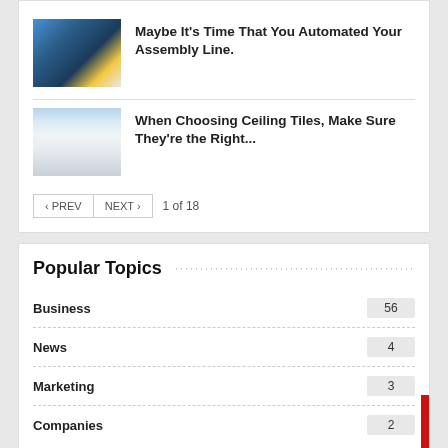[Figure (photo): Industrial factory/assembly line photo with blue and yellow tones]
Maybe It's Time That You Automated Your Assembly Line.
[Figure (photo): White room with ceiling tiles, minimal interior]
When Choosing Ceiling Tiles, Make Sure They're the Right...
< PREV   NEXT >   1 of 18
Popular Topics
Business 56
News 4
Marketing 3
Companies 2